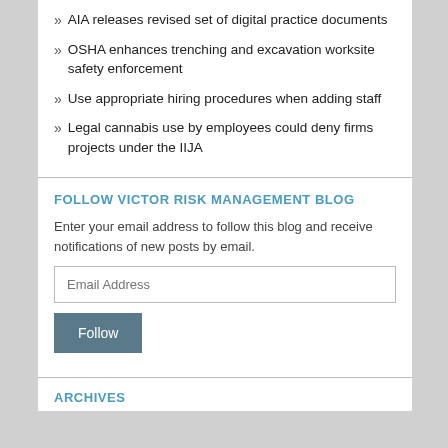AIA releases revised set of digital practice documents
OSHA enhances trenching and excavation worksite safety enforcement
Use appropriate hiring procedures when adding staff
Legal cannabis use by employees could deny firms projects under the IIJA
FOLLOW VICTOR RISK MANAGEMENT BLOG
Enter your email address to follow this blog and receive notifications of new posts by email.
Email Address
Follow
ARCHIVES